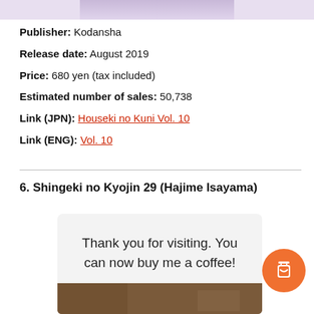[Figure (illustration): Partial manga cover image at the top]
Publisher: Kodansha
Release date: August 2019
Price: 680 yen (tax included)
Estimated number of sales: 50,738
Link (JPN): Houseki no Kuni Vol. 10
Link (ENG): Vol. 10
6. Shingeki no Kyojin 29 (Hajime Isayama)
Thank you for visiting. You can now buy me a coffee!
[Figure (photo): Partial manga cover photo at bottom]